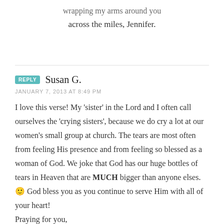wrapping my arms around you across the miles, Jennifer.
Susan G.
JANUARY 7, 2013 AT 8:49 PM
I love this verse! My ‘sister’ in the Lord and I often call ourselves the ‘crying sisters’, because we do cry a lot at our women’s small group at church. The tears are most often from feeling His presence and from feeling so blessed as a woman of God. We joke that God has our huge bottles of tears in Heaven that are MUCH bigger than anyone elses. 🙂 God bless you as you continue to serve Him with all of your heart! Praying for you,
Susan G.